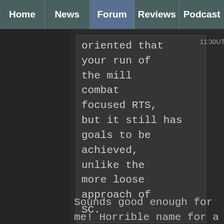Home | News | Forum | Reviews | Podcast
oriented that your run of the mill combat focused RTS, but it still has goals to be achieved, unlike the more loose approach of SC.
11:30UTC
Sounds good enough for me!  Horrible name for a game